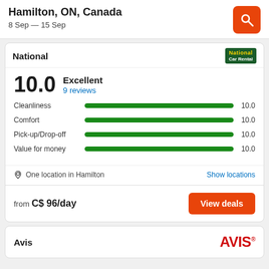Hamilton, ON, Canada
8 Sep — 15 Sep
National
10.0  Excellent  9 reviews
[Figure (bar-chart): Ratings]
One location in Hamilton   Show locations
from C$ 96/day
View deals
Avis